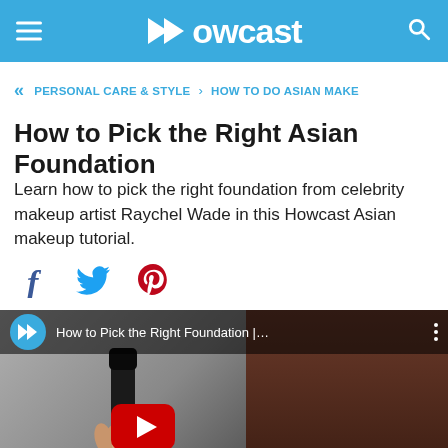Howcast
« PERSONAL CARE & STYLE › HOW TO DO ASIAN MAKE
How to Pick the Right Asian Foundation
Learn how to pick the right foundation from celebrity makeup artist Raychel Wade in this Howcast Asian makeup tutorial.
[Figure (screenshot): Social sharing icons row: Facebook (f), Twitter (bird), Pinterest (p)]
[Figure (screenshot): Video thumbnail showing Howcast logo, title 'How to Pick the Right Foundation |…', a hand holding a black foundation bottle, and a YouTube play button overlay.]